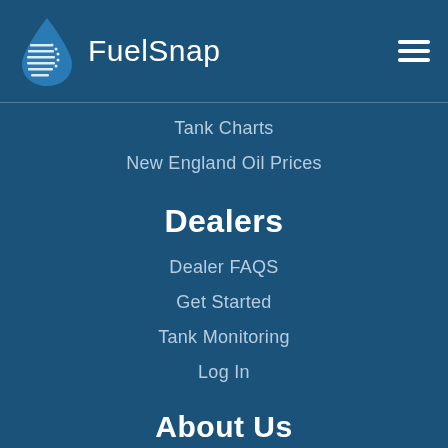FuelSnap
Tank Charts
New England Oil Prices
Dealers
Dealer FAQS
Get Started
Tank Monitoring
Log In
About Us
Blog
Contact Us
Our Story